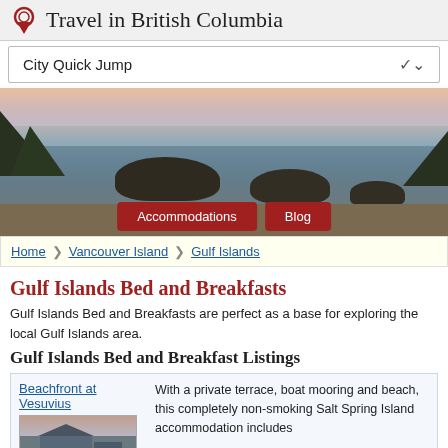Travel in British Columbia
City Quick Jump
[Figure (photo): Coastal British Columbia scene with rocky outcrops, ocean waves, sandy beach, trees in silhouette, and pink/purple dusk sky. Navigation buttons for Accommodations and Blog overlaid at bottom.]
Home > Vancouver Island > Gulf Islands
Gulf Islands Bed and Breakfasts
Gulf Islands Bed and Breakfasts are perfect as a base for exploring the local Gulf Islands area.
Gulf Islands Bed and Breakfast Listings
Beachfront at Vesuvius
With a private terrace, boat mooring and beach, this completely non-smoking Salt Spring Island accommodation includes